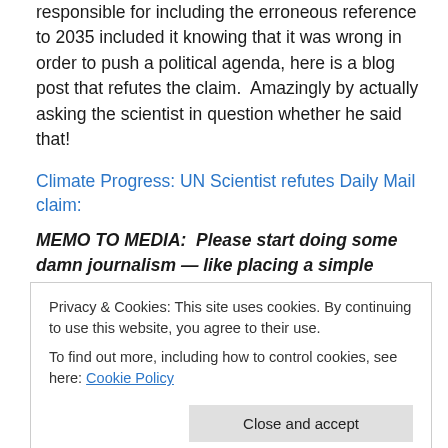responsible for including the erroneous reference to 2035 included it knowing that it was wrong in order to push a political agenda, here is a blog post that refutes the claim. Amazingly by actually asking the scientist in question whether he said that!
Climate Progress: UN Scientist refutes Daily Mail claim:
MEMO TO MEDIA:  Please start doing some damn journalism — like placing a simple phone call to a primary source.   A great many “newspapers” like the Daily Mail are no more reliable than the websites
Privacy & Cookies: This site uses cookies. By continuing to use this website, you agree to their use.
To find out more, including how to control cookies, see here: Cookie Policy
Close and accept
bothered to ask him whether the original story was